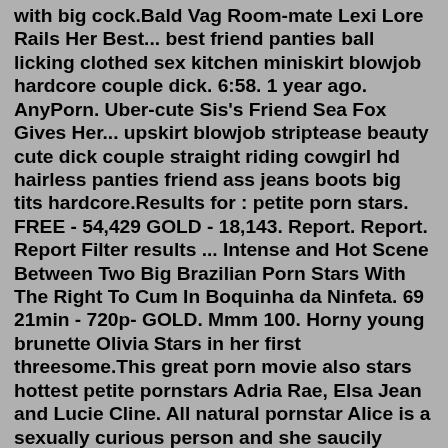with big cock.Bald Vag Room-mate Lexi Lore Rails Her Best... best friend panties ball licking clothed sex kitchen miniskirt blowjob hardcore couple dick. 6:58. 1 year ago. AnyPorn. Uber-cute Sis's Friend Sea Fox Gives Her... upskirt blowjob striptease beauty cute dick couple straight riding cowgirl hd hairless panties friend ass jeans boots big tits hardcore.Results for : petite porn stars. FREE - 54,429 GOLD - 18,143. Report. Report. Report Filter results ... Intense and Hot Scene Between Two Big Brazilian Porn Stars With The Right To Cum In Boquinha da Ninfeta. 69 21min - 720p- GOLD. Mmm 100. Horny young brunette Olivia Stars in her first threesome.This great porn movie also stars hottest petite pornstars Adria Rae, Elsa Jean and Lucie Cline. All natural pornstar Alice is a sexually curious person and she saucily stated in her March 2016 Fleshbot interview that; "I have always loved to be naked. And then I found out how much I love sex and it all kinda fell together.A petite and beautiful porn star from Boston,